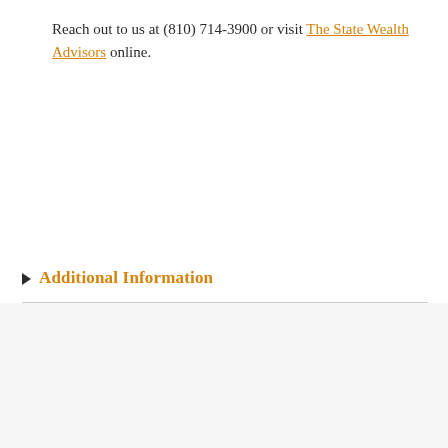Reach out to us at (810) 714-3900 or visit The State Wealth Advisors online.
Additional Information